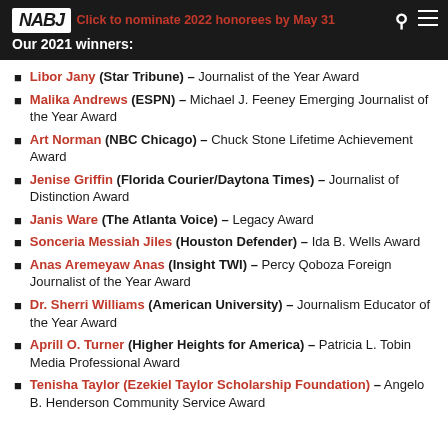Click to nominate 2022 honorees by May 31
Our 2021 winners:
Libor Jany (Star Tribune) – Journalist of the Year Award
Malika Andrews (ESPN) – Michael J. Feeney Emerging Journalist of the Year Award
Art Norman (NBC Chicago) – Chuck Stone Lifetime Achievement Award
Jenise Griffin (Florida Courier/Daytona Times) – Journalist of Distinction Award
Janis Ware (The Atlanta Voice) – Legacy Award
Sonceria Messiah Jiles (Houston Defender) – Ida B. Wells Award
Anas Aremeyaw Anas (Insight TWI) – Percy Qoboza Foreign Journalist of the Year Award
Dr. Sherri Williams (American University) – Journalism Educator of the Year Award
Aprill O. Turner (Higher Heights for America) – Patricia L. Tobin Media Professional Award
Tenisha Taylor (Ezekiel Taylor Scholarship Foundation) – Angelo B. Henderson Community Service Award